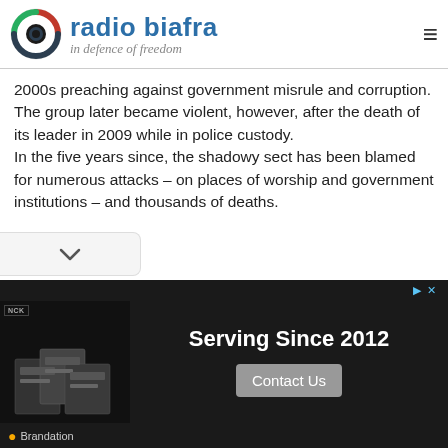[Figure (logo): Radio Biafra logo with circular icon and text 'radio biafra in defence of freedom']
2000s preaching against government misrule and corruption. The group later became violent, however, after the death of its leader in 2009 while in police custody. In the five years since, the shadowy sect has been blamed for numerous attacks – on places of worship and government institutions – and thousands of deaths.
[Figure (screenshot): Advertisement banner: dark background with product image on left, text 'Serving Since 2012', and 'Contact Us' button. Footer shows 'Brandation' label.]